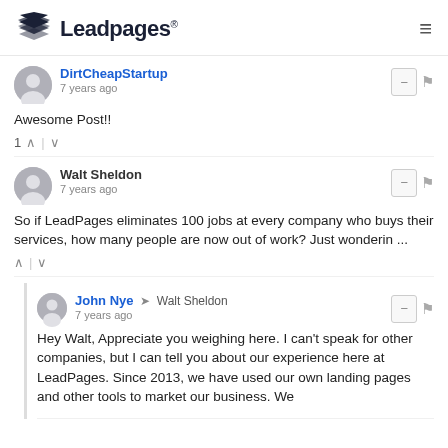[Figure (logo): Leadpages logo with stacked layers icon and wordmark]
DirtCheapStartup
7 years ago
Awesome Post!!
1 ↑ | ↓
Walt Sheldon
7 years ago
So if LeadPages eliminates 100 jobs at every company who buys their services, how many people are now out of work? Just wonderin ...
↑ | ↓
John Nye → Walt Sheldon
7 years ago
Hey Walt, Appreciate you weighing here. I can't speak for other companies, but I can tell you about our experience here at LeadPages. Since 2013, we have used our own landing pages and other tools to market our business. We